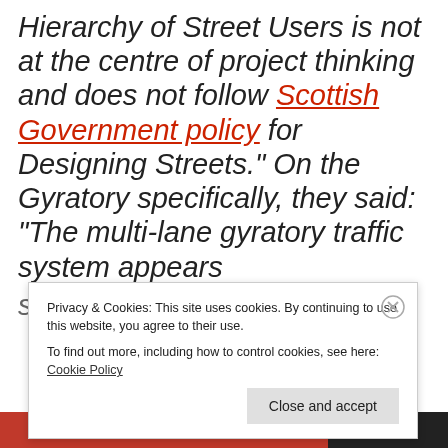Hierarchy of Street Users is not at the centre of project thinking and does not follow Scottish Government policy for Designing Streets." On the Gyratory specifically, they said: "“The multi-lane gyratory traffic system appears
Privacy & Cookies: This site uses cookies. By continuing to use this website, you agree to their use. To find out more, including how to control cookies, see here: Cookie Policy
Close and accept